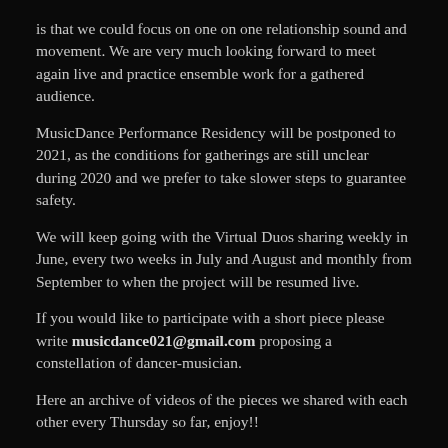is that we could focus on one on one relationship sound and movement. We are very much looking forward to meet again live and practice ensemble work for a gathered audience.
MusicDance Performance Residency will be postponed to 2021, as the conditions for gatherings are still unclear during 2020 and we prefer to take slower steps to guarantee safety.
We will keep going with the Virtual Duos sharing weekly in June, every two weeks in July and August and monthly from September to when the project will be resumed live.
If you would like to participate with a short piece please write musicdance021@gmail.com proposing a constellation of dancer-musician.
Here an archive of videos of the pieces we shared with each other every Thursday so far, enjoy!!